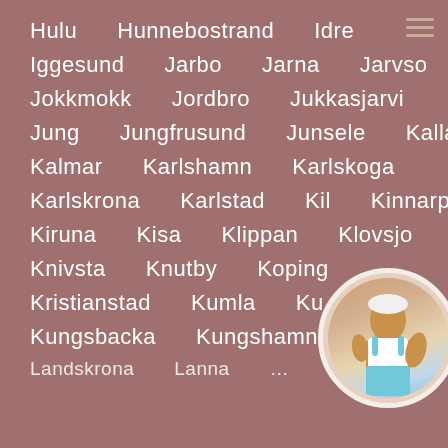Hulu   Hunnebostrand   Idre
Iggesund   Jarbo   Jarna   Jarvso
Jokkmokk   Jordbro   Jukkasjarvi
Jung   Jungfrusund   Junsele   Kallax
Kalmar   Karlshamn   Karlskoga
Karlskrona   Karlstad   Kil   Kinnarp
Kiruna   Kisa   Klippan   Klovsjo
Knivsta   Knutby   Koping
Kristianstad   Kumla   Ku
Kungsbacka   Kungshamn
Landskrona   Lanna   …   Leksand